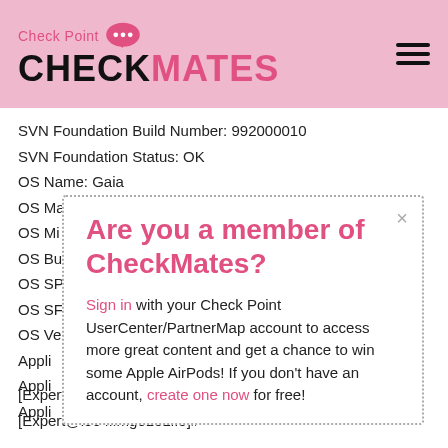Check Point CHECKMATES
SVN Foundation Build Number: 992000010
SVN Foundation Status: OK
OS Name: Gaia
OS Ma...
OS Mi...
OS Bu...
OS SP...
OS SF...
OS Ve...
Appli...
Appli...
Appli...
[Figure (screenshot): Modal dialog asking 'Are you a member of CheckMates?' with sign in and create account links]
[Expert@l504lfmg0101l:0]#
[Expert@l504lfmg0101l:0]#